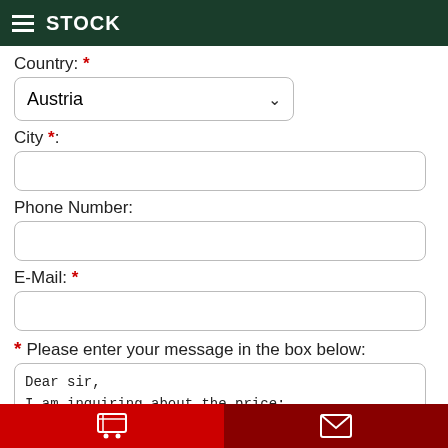STOCK
Country: *
Austria
City *:
Phone Number:
E-Mail: *
* Please enter your message in the box below:
Dear sir,
I am inquiring about the price:
ID: 1572 |  - HW-15B mini Crawler Excavator
Comment: